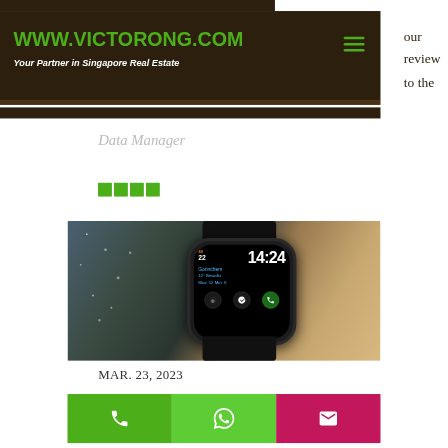WWW.VICTORONG.COM — Your Partner in Singapore Real Estate
Data Manager
[Figure (other): Four small green squares/rating icons]
[Figure (photo): Close-up photo of an Apple Watch on a wrist showing time 14:24, date 22, weather for Gorinchem 12° Bewolkt Max: 12 Min: 9, with Shazam and phone icons]
MAR. 23, 2023
Call / WhatsApp / Email buttons